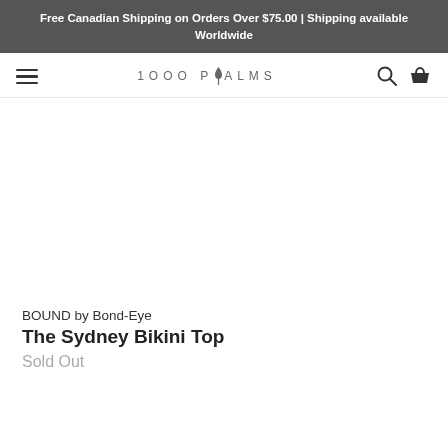Free Canadian Shipping on Orders Over $75.00 | Shipping available Worldwide
[Figure (logo): 1000PALMS brand logo with hamburger menu, search icon, and basket icon in navigation bar]
BOUND by Bond-Eye
The Sydney Bikini Top
Sold Out